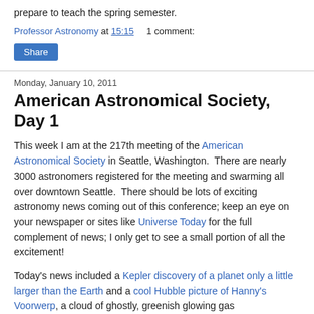prepare to teach the spring semester.
Professor Astronomy at 15:15   1 comment:
Share
Monday, January 10, 2011
American Astronomical Society, Day 1
This week I am at the 217th meeting of the American Astronomical Society in Seattle, Washington.  There are nearly 3000 astronomers registered for the meeting and swarming all over downtown Seattle.  There should be lots of exciting astronomy news coming out of this conference; keep an eye on your newspaper or sites like Universe Today for the full complement of news; I only get to see a small portion of all the excitement!
Today's news included a Kepler discovery of a planet only a little larger than the Earth and a cool Hubble picture of Hanny's Voorwerp, a cloud of ghostly, greenish glowing gas